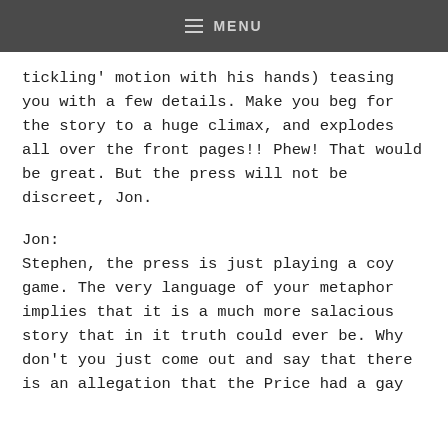≡ MENU
tickling' motion with his hands) teasing you with a few details. Make you beg for the story to a huge climax, and explodes all over the front pages!! Phew! That would be great. But the press will not be discreet, Jon.
Jon:
Stephen, the press is just playing a coy game. The very language of your metaphor implies that it is a much more salacious story that in it truth could ever be. Why don't you just come out and say that there is an allegation that the Price had a gay